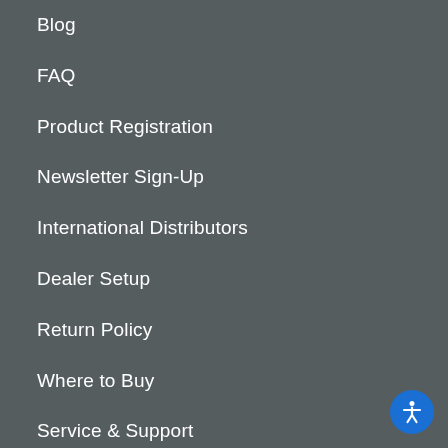Blog
FAQ
Product Registration
Newsletter Sign-Up
International Distributors
Dealer Setup
Return Policy
Where to Buy
Service & Support
Return / Warranty Request
[Figure (illustration): Blue circular accessibility icon button with white person figure, bottom-right corner]